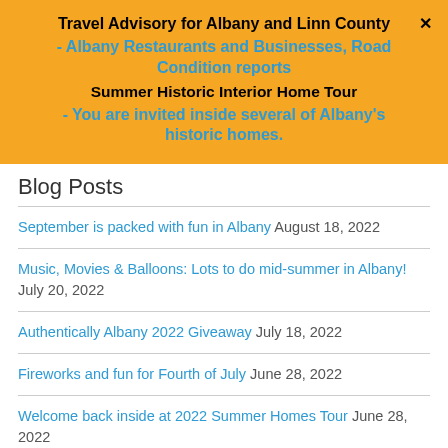Travel Advisory for Albany and Linn County
- Albany Restaurants and Businesses, Road Condition reports
Summer Historic Interior Home Tour
- You are invited inside several of Albany's historic homes.
Blog Posts
September is packed with fun in Albany August 18, 2022
Music, Movies & Balloons: Lots to do mid-summer in Albany! July 20, 2022
Authentically Albany 2022 Giveaway July 18, 2022
Fireworks and fun for Fourth of July June 28, 2022
Welcome back inside at 2022 Summer Homes Tour June 28, 2022